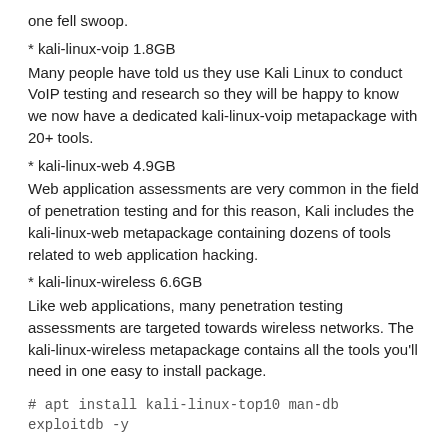one fell swoop.
* kali-linux-voip 1.8GB
Many people have told us they use Kali Linux to conduct VoIP testing and research so they will be happy to know we now have a dedicated kali-linux-voip metapackage with 20+ tools.
* kali-linux-web 4.9GB
Web application assessments are very common in the field of penetration testing and for this reason, Kali includes the kali-linux-web metapackage containing dozens of tools related to web application hacking.
* kali-linux-wireless 6.6GB
Like web applications, many penetration testing assessments are targeted towards wireless networks. The kali-linux-wireless metapackage contains all the tools you'll need in one easy to install package.
# apt install kali-linux-top10 man-db exploitdb -y
To see the list of tools included in a metapackage, you can use simple